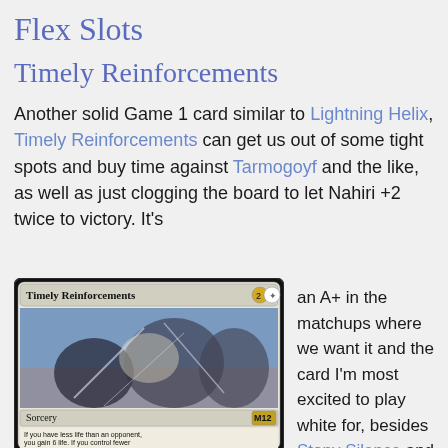Flex Slots
Timely Reinforcements
Another solid Game 1 card similar to Lightning Helix, Timely Reinforcements can get us out of some tight spots and buy time against Tarmogoyf and the like, as well as just clogging the board to let Nahiri +2 twice to victory. It's an A+ in the matchups where we want it and the card I'm most excited to play white for, besides Stony Silence and Path to Exile.
[Figure (photo): Magic: The Gathering card 'Timely Reinforcements' showing knights in battle. Card text: Sorcery, M12. If you have less life than an opponent, you gain 6 life. If you control fewer creatures than an opponent, put three 1/1 white Soldier creature tokens onto the battlefield.]